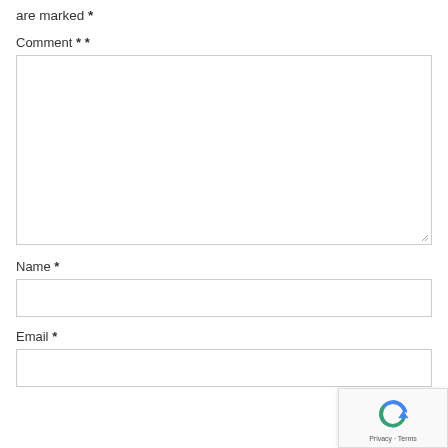are marked *
Comment * *
[Figure (screenshot): Empty comment textarea input field with resize handle]
Name *
[Figure (screenshot): Empty name text input field]
Email *
[Figure (screenshot): Empty email text input field]
[Figure (logo): Google reCAPTCHA widget showing circular arrow logo with Privacy - Terms text]